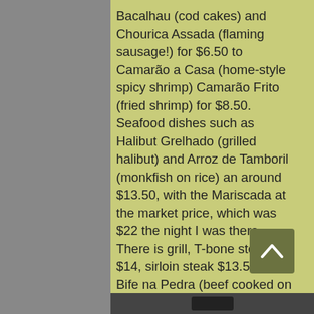Bacalhau (cod cakes) and Chourica Assada (flaming sausage!) for $6.50 to Camarão a Casa (home-style spicy shrimp) Camarão Frito (fried shrimp) for $8.50. Seafood dishes such as Halibut Grelhado (grilled halibut) and Arroz de Tamboril (monkfish on rice) an around $13.50, with the Mariscada at the market price, which was $22 the night I was there. There is grill, T-bone steak for $14, sirloin steak $13.50 and Bife na Pedra (beef cooked on a rock) for $16.50. That dish takes little extra time: It requires 30 minutes to heat the rock on which the meat cooked.
The wine list is Portuguese, except for a lone Shiraz. Casal Garcia at $12 and Solar Alvarinho at $22 are the whites, and the reds ra... $3 except for